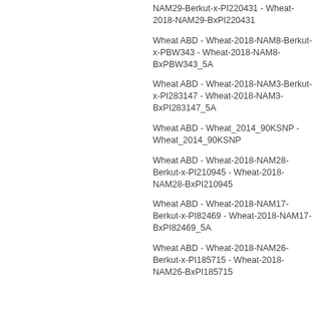NAM29-Berkut-x-PI220431 - Wheat-2018-NAM29-BxPI220431
Wheat ABD - Wheat-2018-NAM8-Berkut-x-PBW343 - Wheat-2018-NAM8-BxPBW343_5A
Wheat ABD - Wheat-2018-NAM3-Berkut-x-PI283147 - Wheat-2018-NAM3-BxPI283147_5A
Wheat ABD - Wheat_2014_90KSNP - Wheat_2014_90KSNP
Wheat ABD - Wheat-2018-NAM28-Berkut-x-PI210945 - Wheat-2018-NAM28-BxPI210945
Wheat ABD - Wheat-2018-NAM17-Berkut-x-PI82469 - Wheat-2018-NAM17-BxPI82469_5A
Wheat ABD - Wheat-2018-NAM26-Berkut-x-PI185715 - Wheat-2018-NAM26-BxPI185715